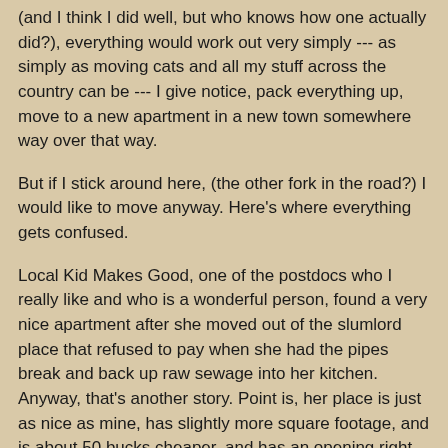(and I think I did well, but who knows how one actually did?), everything would work out very simply --- as simply as moving cats and all my stuff across the country can be --- I give notice, pack everything up, move to a new apartment in a new town somewhere way over that way.
But if I stick around here, (the other fork in the road?) I would like to move anyway. Here's where everything gets confused.
Local Kid Makes Good, one of the postdocs who I really like and who is a wonderful person, found a very nice apartment after she moved out of the slumlord place that refused to pay when she had the pipes break and back up raw sewage into her kitchen. Anyway, that's another story. Point is, her place is just as nice as mine, has slightly more square footage, and is about 50 bucks cheaper, and has an opening right now. Actually, they are raising my rent when I re-sign and demanding that I provide proof of renter's insurance, so it is 75 bucks cheaper plus the renter's ins.
Our evil plan was to get all of the postdocs who still hang out